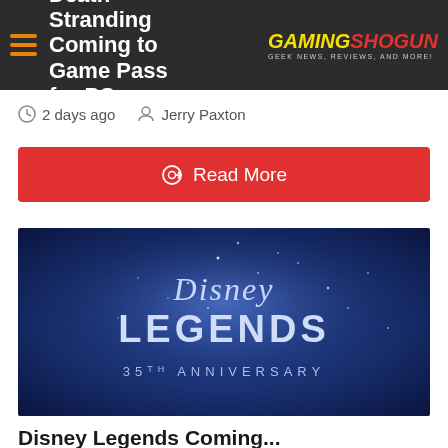Death Stranding Coming to Game Pass for PC
2 days ago   Jerry Paxton
Read More
[Figure (photo): Disney Legends 35th Anniversary logo on a blue starry background]
Disney Legends Coming...